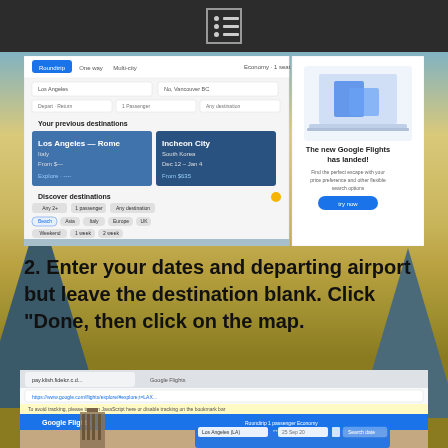[Figure (screenshot): Screenshot of Google Flights search interface showing flight search form with 'Your previous destinations', 'Discover destinations' section with map, and a promotional card 'The new Google Flights has landed!']
2. Enter your dates and departing airport but leave the destination blank. Click “Done, then click on the map.
[Figure (screenshot): Screenshot of Google Flights in Chrome browser showing a search with building/architecture hero image, flight search form with calendar picker open, showing departure date selection]